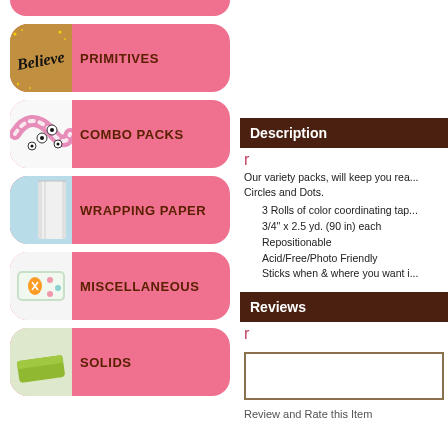PRIMITIVES
COMBO PACKS
WRAPPING PAPER
MISCELLANEOUS
SOLIDS
Description
Our variety packs, will keep you rea... Circles and Dots.
3 Rolls of color coordinating tap...
3/4" x 2.5 yd. (90 in) each
Repositionable
Acid/Free/Photo Friendly
Sticks when & where you want i...
Reviews
Review and Rate this Item